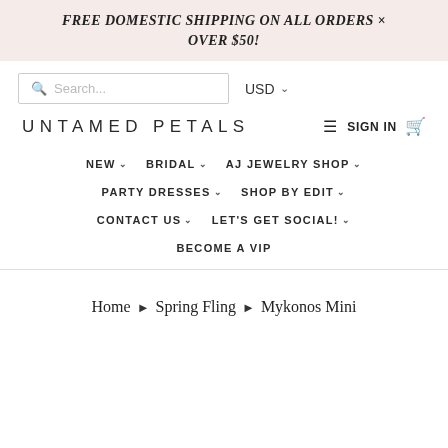FREE DOMESTIC SHIPPING ON ALL ORDERS OVER $50!
[Figure (screenshot): Search bar with placeholder text 'Search...' and USD currency selector with dropdown arrow]
[Figure (logo): UNTAMED PETALS logo with hamburger menu, SIGN IN text, and cart icon]
NEW ∨  BRIDAL ∨  AJ JEWELRY SHOP ∨
PARTY DRESSES ∨  SHOP BY EDIT ∨
CONTACT US ∨  LET'S GET SOCIAL! ∨
BECOME A VIP
Home > Spring Fling > Mykonos Mini